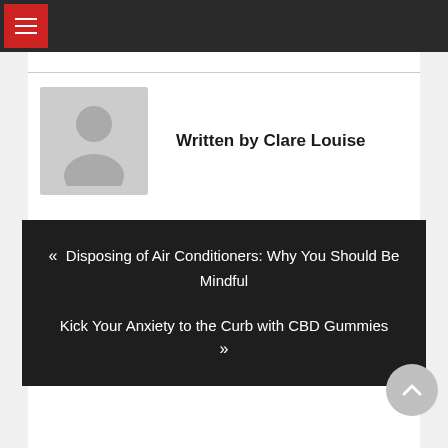Navigation menu header bar
Written by Clare Louise
« Disposing of Air Conditioners: Why You Should Be Mindful

Kick Your Anxiety to the Curb with CBD Gummies »